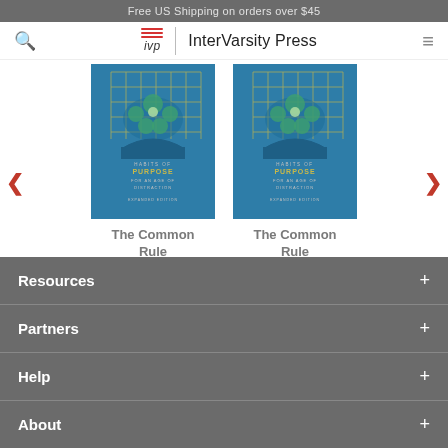Free US Shipping on orders over $45
[Figure (screenshot): InterVarsity Press navigation bar with search icon, IVP logo with red wavy lines, and hamburger menu]
[Figure (illustration): Two book covers for 'The Common Rule' (Habits of Purpose for an Age of Distraction, Expanded Edition) shown side by side in a carousel with left and right navigation arrows]
The Common Rule
The Common Rule
Resources +
Partners +
Help +
About +